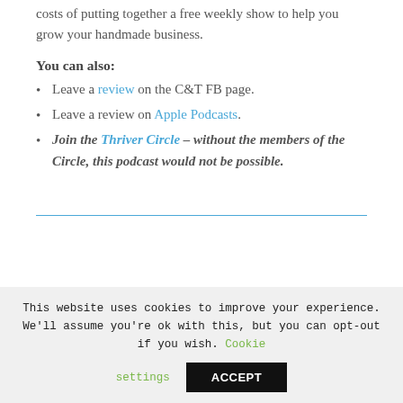costs of putting together a free weekly show to help you grow your handmade business.
You can also:
Leave a review on the C&T FB page.
Leave a review on Apple Podcasts.
Join the Thriver Circle – without the members of the Circle, this podcast would not be possible.
This website uses cookies to improve your experience. We'll assume you're ok with this, but you can opt-out if you wish. Cookie settings ACCEPT